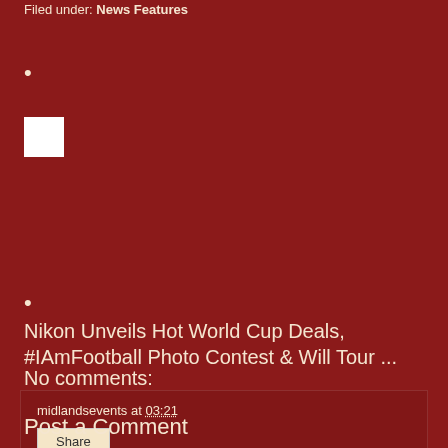Filed under: News Features
•
[Figure (other): Small white square thumbnail/image placeholder]
•
Nikon Unveils Hot World Cup Deals, #IAmFootball Photo Contest & Will Tour ...
midlandsevents at 03:21
Share
No comments:
Post a Comment